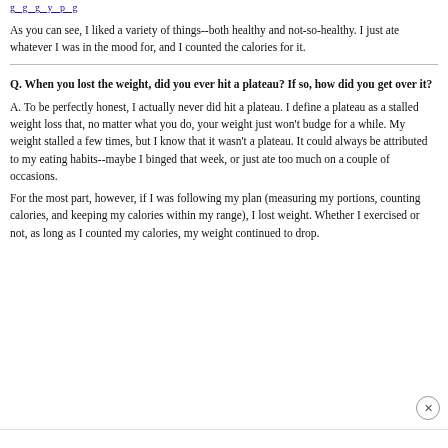g g g y p g
As you can see, I liked a variety of things--both healthy and not-so-healthy. I just ate whatever I was in the mood for, and I counted the calories for it.
Q. When you lost the weight, did you ever hit a plateau? If so, how did you get over it?
A. To be perfectly honest, I actually never did hit a plateau. I define a plateau as a stalled weight loss that, no matter what you do, your weight just won't budge for a while. My weight stalled a few times, but I know that it wasn't a plateau. It could always be attributed to my eating habits--maybe I binged that week, or just ate too much on a couple of occasions.
For the most part, however, if I was following my plan (measuring my portions, counting calories, and keeping my calories within my range), I lost weight. Whether I exercised or not, as long as I counted my calories, my weight continued to drop.